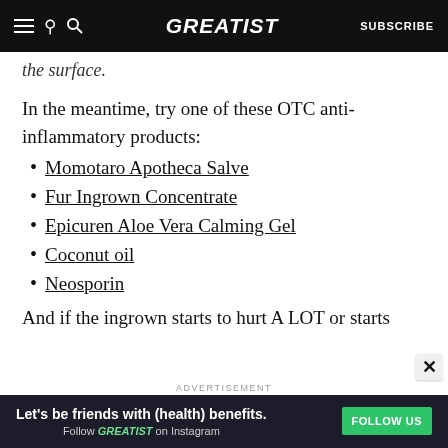GREATIST | SUBSCRIBE
the surface.
In the meantime, try one of these OTC anti-inflammatory products:
Momotaro Apotheca Salve
Fur Ingrown Concentrate
Epicuren Aloe Vera Calming Gel
Coconut oil
Neosporin
And if the ingrown starts to hurt A LOT or starts
[Figure (infographic): Advertisement banner for Greatist Instagram: 'Let's be friends with (health) benefits. Follow GREATIST on Instagram' with green FOLLOW US button on dark background]